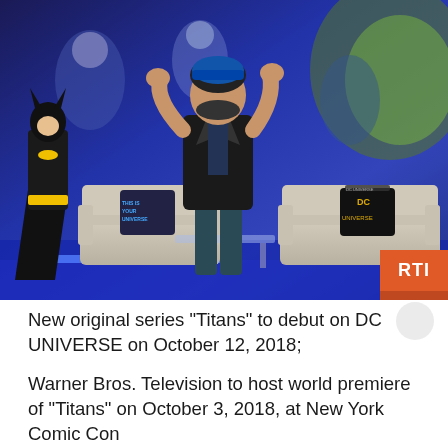[Figure (photo): A man in a black blazer and jeans stands on a TV studio set styled with DC Universe branding. A Batman costume stands to his left. The set has sofas/couches with DC Universe branded pillows and a large illustrated DC Comics mural backdrop with superhero characters including Green Lantern. Two decorative pillows are visible: one reads 'THIS IS YOUR UNIVERSE' and another shows DC Universe logo.]
New original series “Titans” to debut on DC UNIVERSE on October 12, 2018;
Warner Bros. Television to host world premiere of “Titans” on October 3, 2018, at New York Comic Con
John Barrowman, Samm Levine and Harley Quinn